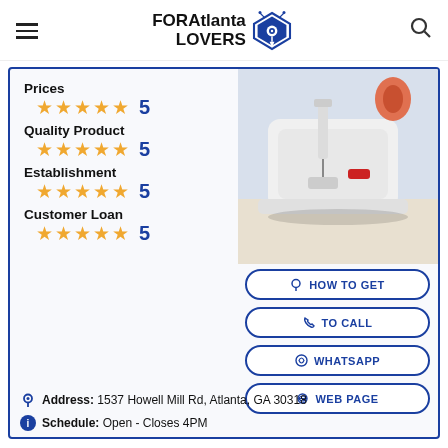FORAtlanta LOVERS
Prices ★★★★★ 5
Quality Product ★★★★★ 5
Establishment ★★★★★ 5
Customer Loan ★★★★★ 5
[Figure (photo): White sewing machine / serger on a light background]
HOW TO GET
TO CALL
WHATSAPP
WEB PAGE
Address: 1537 Howell Mill Rd, Atlanta, GA 30318
Schedule: Open - Closes 4PM